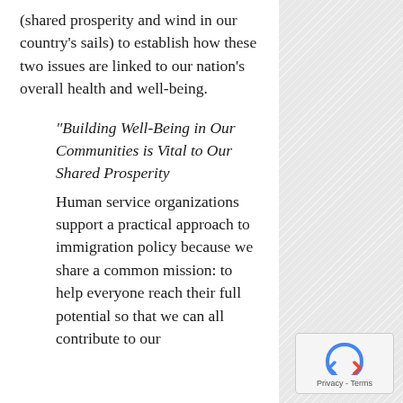(shared prosperity and wind in our country's sails) to establish how these two issues are linked to our nation's overall health and well-being.
“Building Well-Being in Our Communities is Vital to Our Shared Prosperity
Human service organizations support a practical approach to immigration policy because we share a common mission: to help everyone reach their full potential so that we can all contribute to our